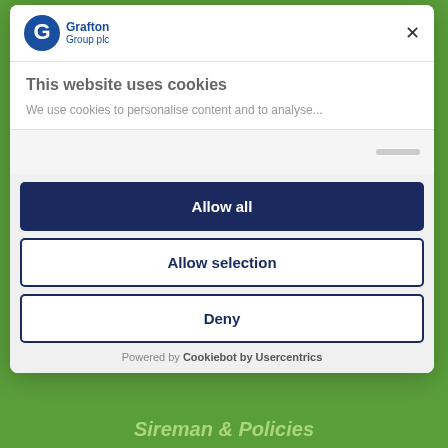[Figure (logo): Grafton Group plc logo with stylized G icon in blue circle and company name]
This website uses cookies
We use cookies to personalise content and to analyse...
Allow all
Allow selection
Deny
Powered by Cookiebot by Usercentrics
Sireman & Policies